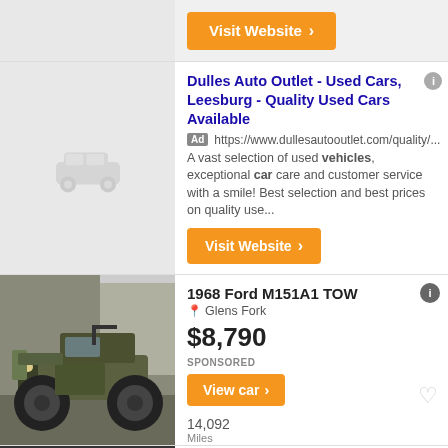[Figure (screenshot): Visit Website orange button at top]
[Figure (photo): Gray car icon placeholder image for Dulles Auto Outlet ad]
Dulles Auto Outlet - Used Cars, Leesburg - Quality Used Cars Available
Ad https://www.dullesautooutlet.com/quality/...
A vast selection of used vehicles, exceptional car care and customer service with a smile! Best selection and best prices on quality use...
[Figure (screenshot): Visit Website orange button]
[Figure (photo): Photo of a 1968 Ford M151A1 TOW military jeep in olive drab/camouflage colors]
1968 Ford M151A1 TOW
Glens Fork
$8,790
SPONSORED
[Figure (screenshot): View car orange button]
14,092
Miles
Used 2016 Ford Taurus Limited Niagara Falls, NY 14304
New York City